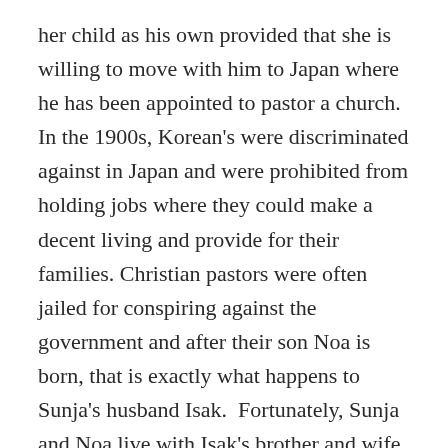her child as his own provided that she is willing to move with him to Japan where he has been appointed to pastor a church. In the 1900s, Korean's were discriminated against in Japan and were prohibited from holding jobs where they could make a decent living and provide for their families. Christian pastors were often jailed for conspiring against the government and after their son Noa is born, that is exactly what happens to Sunja's husband Isak.  Fortunately, Sunja and Noa live with Isak's brother and wife, who are childless and embrace Sunja and Noa as their family.